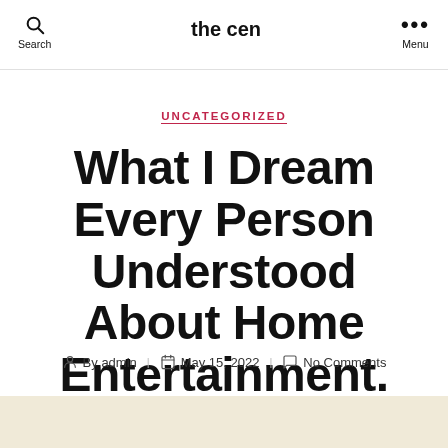the cen | Search | Menu
UNCATEGORIZED
What I Dream Every Person Understood About Home Entertainment.
By admin  May 15, 2022  No Comments